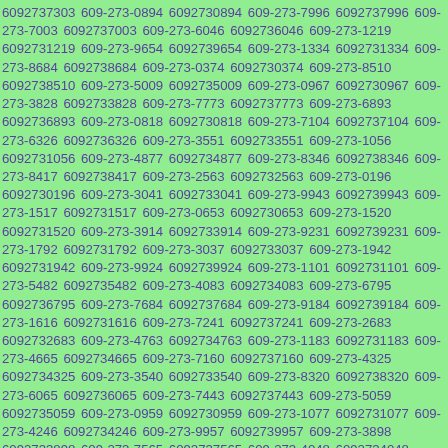6092737303 609-273-0894 6092730894 609-273-7996 6092737996 609-273-7003 6092737003 609-273-6046 6092736046 609-273-1219 6092731219 609-273-9654 6092739654 609-273-1334 6092731334 609-273-8684 6092738684 609-273-0374 6092730374 609-273-8510 6092738510 609-273-5009 6092735009 609-273-0967 6092730967 609-273-3828 6092733828 609-273-7773 6092737773 609-273-6893 6092736893 609-273-0818 6092730818 609-273-7104 6092737104 609-273-6326 6092736326 609-273-3551 6092733551 609-273-1056 6092731056 609-273-4877 6092734877 609-273-8346 6092738346 609-273-8417 6092738417 609-273-2563 6092732563 609-273-0196 6092730196 609-273-3041 6092733041 609-273-9943 6092739943 609-273-1517 6092731517 609-273-0653 6092730653 609-273-1520 6092731520 609-273-3914 6092733914 609-273-9231 6092739231 609-273-1792 6092731792 609-273-3037 6092733037 609-273-1942 6092731942 609-273-9924 6092739924 609-273-1101 6092731101 609-273-5482 6092735482 609-273-4083 6092734083 609-273-6795 6092736795 609-273-7684 6092737684 609-273-9184 6092739184 609-273-1616 6092731616 609-273-7241 6092737241 609-273-2683 6092732683 609-273-4763 6092734763 609-273-1183 6092731183 609-273-4665 6092734665 609-273-7160 6092737160 609-273-4325 6092734325 609-273-3540 6092733540 609-273-8320 6092738320 609-273-6065 6092736065 609-273-7443 6092737443 609-273-5059 6092735059 609-273-0959 6092730959 609-273-1077 6092731077 609-273-4246 6092734246 609-273-9957 6092739957 609-273-3898 6092733898 609-273-7565 6092737565 609-273-4048 6092734048